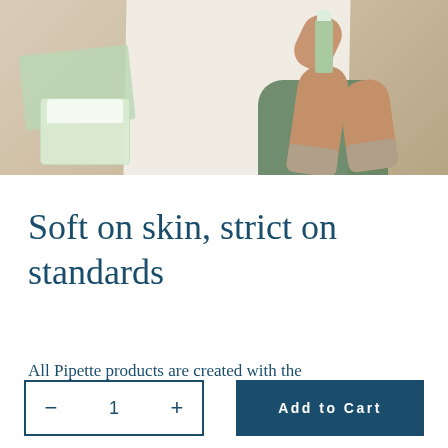[Figure (photo): Overhead view of a baby lying on a white changing mat on a beige surface, wearing a green outfit and beige socks, holding a bottle. A green wipes container and cloth wipes are visible to the left.]
Soft on skin, strict on standards
All Pipette products are created with the